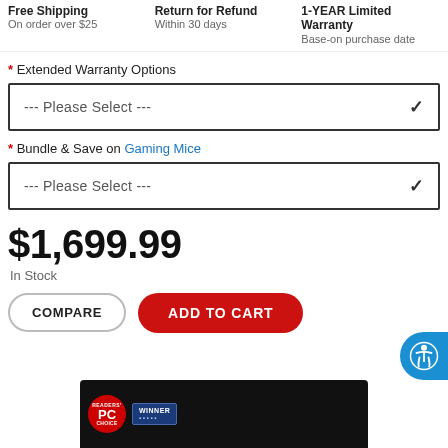Free Shipping On order over $25 | Return for Refund Within 30 days | 1-YEAR Limited Warranty Base-on purchase date
* Extended Warranty Options
--- Please Select ---
* Bundle & Save on Gaming Mice
--- Please Select ---
$1,699.99
In Stock
COMPARE
ADD TO CART
[Figure (photo): Product image showing a dark/black gaming keyboard or peripheral with PC Readers Choice badge and Winner badge visible]